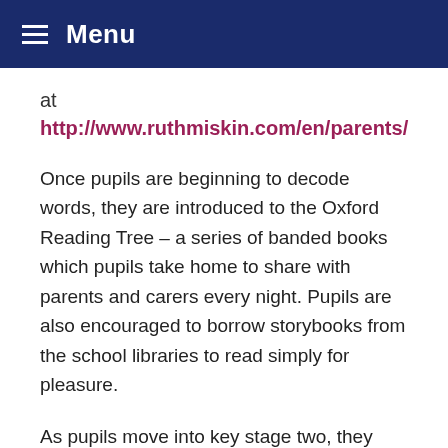Menu
at http://www.ruthmiskin.com/en/parents/
Once pupils are beginning to decode words, they are introduced to the Oxford Reading Tree – a series of banded books which pupils take home to share with parents and carers every night. Pupils are also encouraged to borrow storybooks from the school libraries to read simply for pleasure.
As pupils move into key stage two, they begin to read books from the whole-school library which have also been banded to